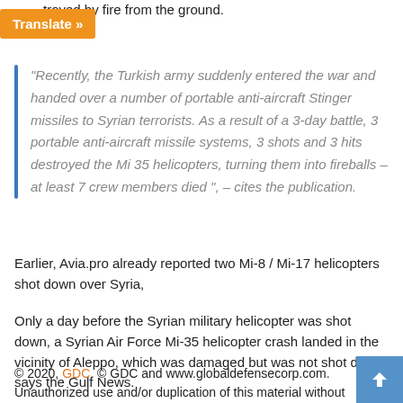troyed by fire from the ground.
Translate »
“Recently, the Turkish army suddenly entered the war and handed over a number of portable anti-aircraft Stinger missiles to Syrian terrorists. As a result of a 3-day battle, 3 portable anti-aircraft missile systems, 3 shots and 3 hits destroyed the Mi 35 helicopters, turning them into fireballs – at least 7 crew members died “, – cites the publication.
Earlier, Avia.pro already reported two Mi-8 / Mi-17 helicopters shot down over Syria,
Only a day before the Syrian military helicopter was shot down, a Syrian Air Force Mi-35 helicopter crash landed in the vicinity of Aleppo, which was damaged but was not shot down says the Gulf News.
© 2020, GDC. © GDC and www.globaldefensecorp.com. Unauthorized use and/or duplication of this material without